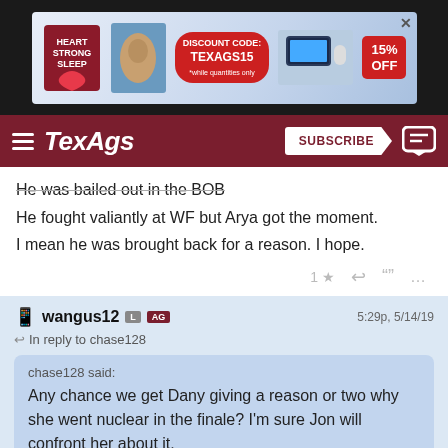[Figure (screenshot): TexAgs website navigation bar with hamburger menu, TexAgs logo, Subscribe button, and chat icon on dark red background. Above it an advertisement banner for Heart Strong Sleep product with TEXAGS15 discount code offering 15% off.]
He was bailed out in the BOB
He fought valiantly at WF but Arya got the moment.
I mean he was brought back for a reason. I hope.
wangus12  L  AG  5:29p, 5/14/19
In reply to chase128
chase128 said:
Any chance we get Dany giving a reason or two why she went nuclear in the finale? I'm sure Jon will confront her about it.
Definitely gonna be some bull**** explanation.